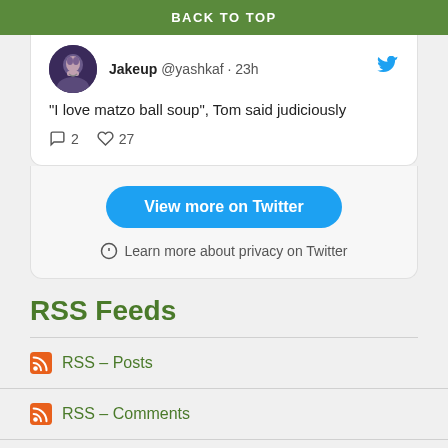BACK TO TOP
[Figure (screenshot): Tweet by Jakeup @yashkaf · 23h: "I love matzo ball soup", Tom said judiciously. 2 replies, 27 likes.]
View more on Twitter
Learn more about privacy on Twitter
RSS Feeds
RSS – Posts
RSS – Comments
Rest of Recent...